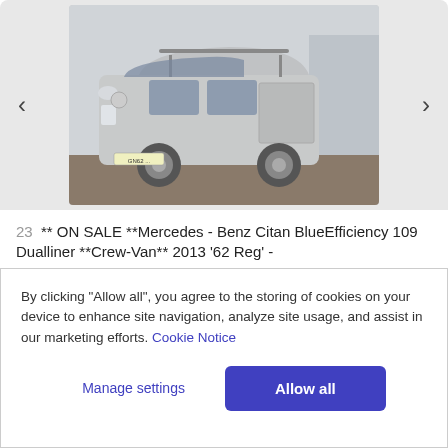[Figure (photo): Silver Mercedes-Benz Citan BlueEfficiency crew van photographed in a yard, front three-quarter view]
23 ** ON SALE **Mercedes - Benz Citan BlueEfficiency 109 Dualliner **Crew-Van** 2013 '62 Reg' -
Lot closed
Location: Fordham, Cambridgeshire
By clicking "Allow all", you agree to the storing of cookies on your device to enhance site navigation, analyze site usage, and assist in our marketing efforts. Cookie Notice
Manage settings
Allow all